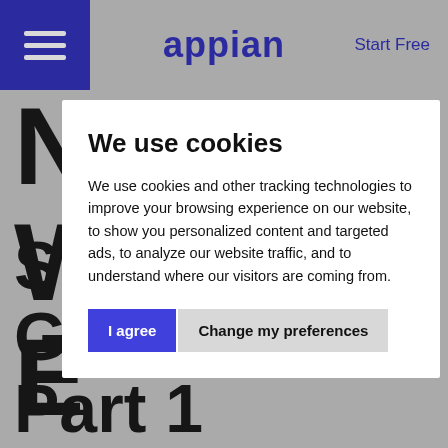appian | Start Free
We use cookies
We use cookies and other tracking technologies to improve your browsing experience on our website, to show you personalized content and targeted ads, to analyze our website traffic, and to understand where our visitors are coming from.
Services Game, Part 1